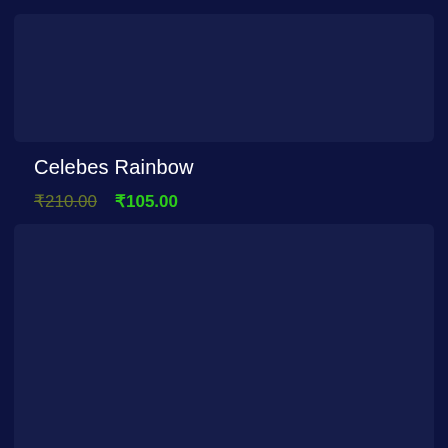[Figure (photo): Product image placeholder — dark navy blue rectangle at top]
Celebes Rainbow
₹210.00  ₹105.00
[Figure (photo): Product image placeholder — dark navy blue rectangle at bottom]